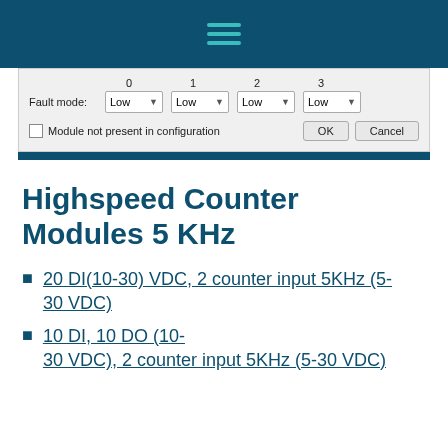≡ (hamburger menu icon)
[Figure (screenshot): A dialog box showing Fault mode settings with four channel dropdowns (0, 1, 2, 3), each set to 'Low'. A checkbox labeled 'Module not present in configuration' and OK/Cancel buttons are visible.]
Highspeed Counter Modules 5 KHz
20 DI(10-30) VDC, 2 counter input 5KHz (5-30 VDC)
10 DI, 10 DO (10-30 VDC), 2 counter input 5KHz (5-30 VDC)